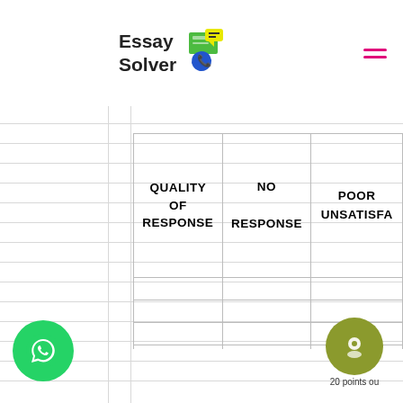Essay Solver
| QUALITY OF RESPONSE | NO RESPONSE | POOR / UNSATISFA... |
| --- | --- | --- |
|  |  |  |
|  |  |  |
|  |  |  |
|  |  |  |
|  |  |  |
|  |  |  |
20 points ou...